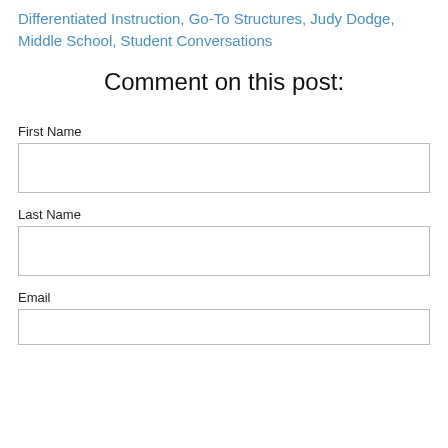Differentiated Instruction, Go-To Structures, Judy Dodge, Middle School, Student Conversations
Comment on this post:
First Name
Last Name
Email